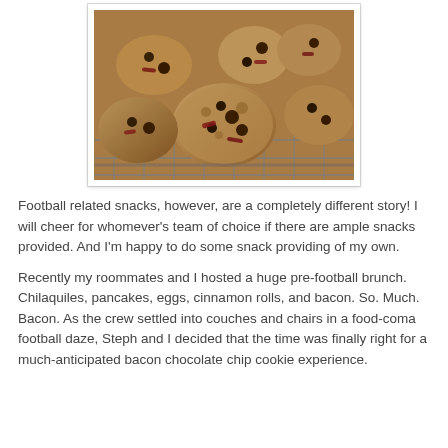[Figure (photo): Close-up photo of bacon chocolate chip cookies cooling on a wire rack, showing chunky cookies with visible chocolate chips and pieces of bacon, warm golden-brown color.]
Football related snacks, however, are a completely different story! I will cheer for whomever's team of choice if there are ample snacks provided. And I'm happy to do some snack providing of my own.
Recently my roommates and I hosted a huge pre-football brunch. Chilaquiles, pancakes, eggs, cinnamon rolls, and bacon. So. Much. Bacon. As the crew settled into couches and chairs in a food-coma football daze, Steph and I decided that the time was finally right for a much-anticipated bacon chocolate chip cookie experience.